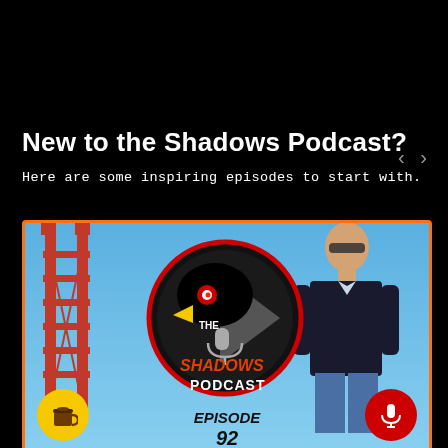New to the Shadows Podcast?
Here are some inspiring episodes to start with.
[Figure (screenshot): Podcast episode card for The Shadows Podcast Episode 92, featuring the Golden Gate Bridge on the left, a bald man in a suit in the center-right, and the Shadows Podcast circular logo in the center. Yellow coffee cup icon bottom left, red microphone icon bottom right. Orange border around the card.]